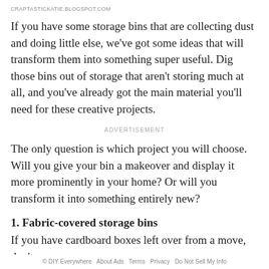CRAPTASTICKATIE.BLOGSPOT.COM
If you have some storage bins that are collecting dust and doing little else, we've got some ideas that will transform them into something super useful. Dig those bins out of storage that aren't storing much at all, and you've already got the main material you'll need for these creative projects.
ADVERTISEMENT
The only question is which project you will choose. Will you give your bin a makeover and display it more prominently in your home? Or will you transform it into something entirely new?
1. Fabric-covered storage bins
If you have cardboard boxes left over from a move, don't
© DIY Everywhere   About Ads   Terms   Privacy   Do Not Sell My Info